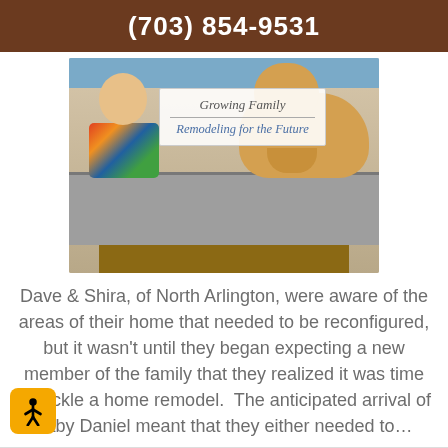(703) 854-9531
[Figure (photo): Photo of a toddler and a golden retriever dog sitting on a bench, with a sign reading 'Growing Family / Remodeling for the Future']
Dave & Shira, of North Arlington, were aware of the areas of their home that needed to be reconfigured, but it wasn't until they began expecting a new member of the family that they realized it was time to tackle a home remodel.  The anticipated arrival of baby Daniel meant that they either needed to…